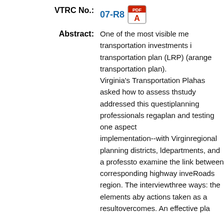VTRC No.: 07-R8
Abstract: One of the most visible mechanisms for directing transportation investments is the long-range transportation plan (LRP) (also called the long-range transportation plan). Virginia's Transportation Planning has asked how to assess this. This study addressed this question by surveying planning professionals regarding a model plan and testing one aspect of LRP implementation--with Virginia's regional planning districts, MPO departments, and a professional group to examine the link between LRPs and corresponding highway investments in the Roads region. The interviews examined three ways: the elements and actions taken as a result of these plan overcomes. An effective pla...